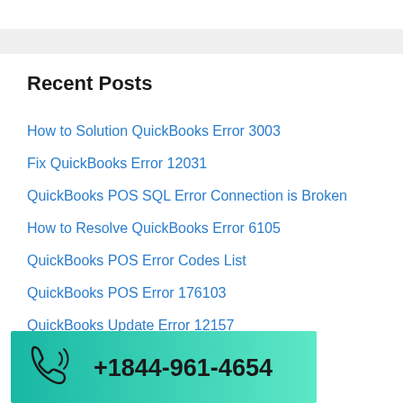Recent Posts
How to Solution QuickBooks Error 3003
Fix QuickBooks Error 12031
QuickBooks POS SQL Error Connection is Broken
How to Resolve QuickBooks Error 6105
QuickBooks POS Error Codes List
QuickBooks POS Error 176103
QuickBooks Update Error 12157
[Figure (infographic): Phone banner with teal gradient background showing phone icon and number +1844-961-4654]